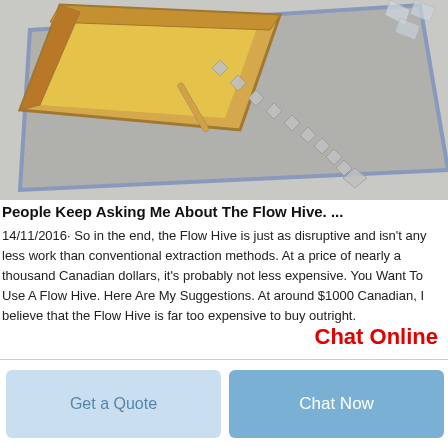[Figure (photo): Photo of a Flow Hive device showing a tilted wooden frame with yellow honeycomb panels and a line of silver/chrome leaf-shaped decorative elements on a grey metallic surface, viewed from an angle.]
People Keep Asking Me About The Flow Hive. ...
14/11/2016· So in the end, the Flow Hive is just as disruptive and isn't any less work than conventional extraction methods. At a price of nearly a thousand Canadian dollars, it's probably not less expensive. You Want To Use A Flow Hive. Here Are My Suggestions. At around $1000 Canadian, I believe that the Flow Hive is far too expensive to buy outright.
Chat Online
Get a Quote
Chat Now